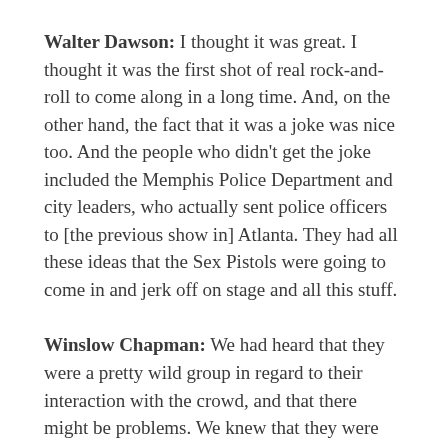Walter Dawson: I thought it was great. I thought it was the first shot of real rock-and-roll to come along in a long time. And, on the other hand, the fact that it was a joke was nice too. And the people who didn't get the joke included the Memphis Police Department and city leaders, who actually sent police officers to [the previous show in] Atlanta. They had all these ideas that the Sex Pistols were going to come in and jerk off on stage and all this stuff.
Winslow Chapman: We had heard that they were a pretty wild group in regard to their interaction with the crowd, and that there might be problems. We knew that they were headed to Memphis, and we had been given information that there'd been a near riot somewhere else [where they'd played]. The place they were going to be immediately prior to Memphis was Atlanta, so I sent a